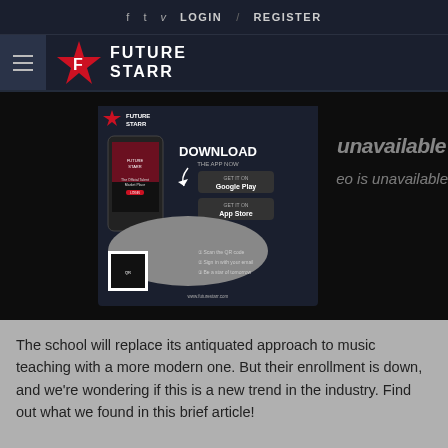f  v  v  LOGIN  /  REGISTER
[Figure (logo): Future Starr logo with star icon and text FUTURE STARR]
[Figure (screenshot): Future Starr app advertisement showing mobile app download with Google Play and App Store buttons, QR code, and overlay text 'unavailable' and 'eo is unavailable']
The school will replace its antiquated approach to music teaching with a more modern one. But their enrollment is down, and we're wondering if this is a new trend in the industry. Find out what we found in this brief article!